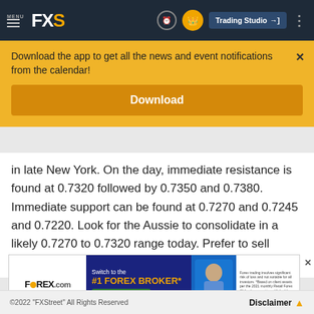MENU FXS Trading Studio
Download the app to get all the news and event notifications from the calendar!
Download
in late New York. On the day, immediate resistance is found at 0.7320 followed by 0.7350 and 0.7380. Immediate support can be found at 0.7270 and 0.7245 and 0.7220. Look for the Aussie to consolidate in a likely 0.7270 to 0.7320 range today. Prefer to sell rallies at current levels.
[Figure (screenshot): FOREX.com advertisement banner: Switch to the #1 FOREX BROKER* OPEN ACCOUNT]
©2022 "FXStreet" All Rights Reserved    Disclaimer ▲